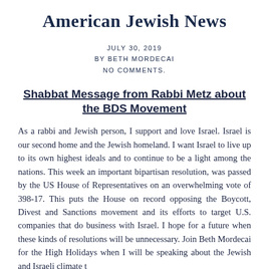American Jewish News
JULY 30, 2019
BY BETH MORDECAI
NO COMMENTS.
Shabbat Message from Rabbi Metz about the BDS Movement
As a rabbi and Jewish person, I support and love Israel. Israel is our second home and the Jewish homeland. I want Israel to live up to its own highest ideals and to continue to be a light among the nations. This week an important bipartisan resolution, was passed by the US House of Representatives on an overwhelming vote of 398-17. This puts the House on record opposing the Boycott, Divest and Sanctions movement and its efforts to target U.S. companies that do business with Israel. I hope for a future when these kinds of resolutions will be unnecessary. Join Beth Mordecai for the High Holidays when I will be speaking about the Jewish and Israeli climate t...